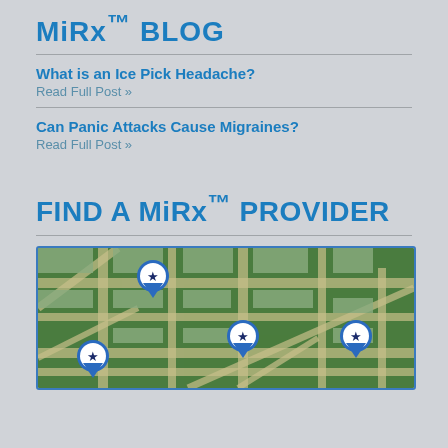MiRx™ BLOG
What is an Ice Pick Headache?
Read Full Post »
Can Panic Attacks Cause Migraines?
Read Full Post »
FIND A MiRx™ PROVIDER
[Figure (map): A map showing provider locations marked with blue pin icons containing white stars, overlaid on a city street map with green areas and road networks.]